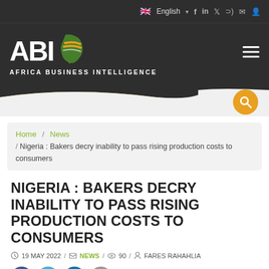🇬🇧 English  f  in  🐦  RSS  ✉  👤
[Figure (logo): ABI Africa Business Intelligence logo with Africa continent icon in green/orange/red stripe colors]
Home / News / Nigeria : Bakers decry inability to pass rising production costs to consumers
NIGERIA : BAKERS DECRY INABILITY TO PASS RISING PRODUCTION COSTS TO CONSUMERS
19 MAY 2022 / NEWS / 90 / FARES RAHAHLIA